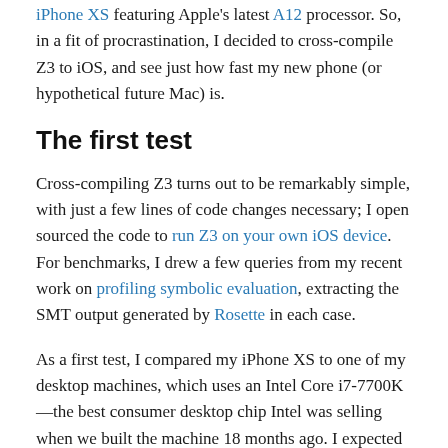iPhone XS featuring Apple's latest A12 processor. So, in a fit of procrastination, I decided to cross-compile Z3 to iOS, and see just how fast my new phone (or hypothetical future Mac) is.
The first test
Cross-compiling Z3 turns out to be remarkably simple, with just a few lines of code changes necessary; I open sourced the code to run Z3 on your own iOS device. For benchmarks, I drew a few queries from my recent work on profiling symbolic evaluation, extracting the SMT output generated by Rosette in each case.
As a first test, I compared my iPhone XS to one of my desktop machines, which uses an Intel Core i7-7700K—the best consumer desktop chip Intel was selling when we built the machine 18 months ago. I expected the Intel chip to win quite handily here, but that's not how things turned out: